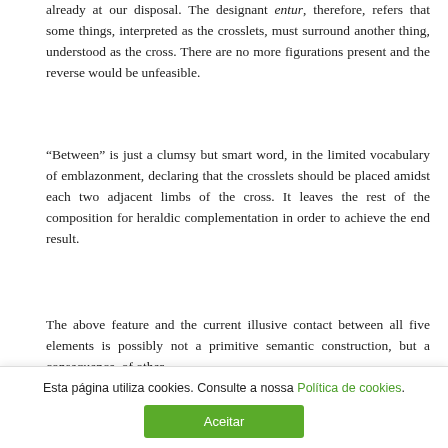already at our disposal. The designant entur, therefore, refers that some things, interpreted as the crosslets, must surround another thing, understood as the cross. There are no more figurations present and the reverse would be unfeasible.
“Between” is just a clumsy but smart word, in the limited vocabulary of emblazonment, declaring that the crosslets should be placed amidst each two adjacent limbs of the cross. It leaves the rest of the composition for heraldic complementation in order to achieve the end result.
The above feature and the current illusive contact between all five elements is possibly not a primitive semantic construction, but a consequence, of other
Esta página utiliza cookies. Consulte a nossa Política de cookies.
Aceitar